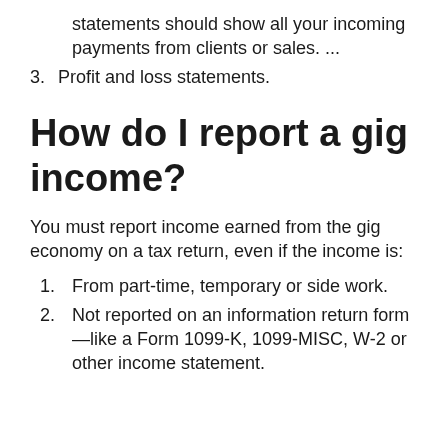statements should show all your incoming payments from clients or sales. ...
3. Profit and loss statements.
How do I report a gig income?
You must report income earned from the gig economy on a tax return, even if the income is:
1. From part-time, temporary or side work.
2. Not reported on an information return form—like a Form 1099-K, 1099-MISC, W-2 or other income statement.